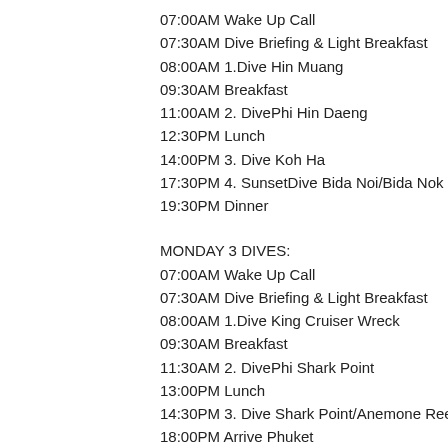07:00AM Wake Up Call
07:30AM Dive Briefing & Light Breakfast
08:00AM 1.Dive Hin Muang
09:30AM Breakfast
11:00AM 2. DivePhi Hin Daeng
12:30PM Lunch
14:00PM 3. Dive Koh Ha
17:30PM 4. SunsetDive Bida Noi/Bida Nok
19:30PM Dinner
MONDAY 3 DIVES:
07:00AM Wake Up Call
07:30AM Dive Briefing & Light Breakfast
08:00AM 1.Dive King Cruiser Wreck
09:30AM Breakfast
11:30AM 2. DivePhi Shark Point
13:00PM Lunch
14:30PM 3. Dive Shark Point/Anemone Reef
18:00PM Arrive Phuket
TOUR 3 TUESDAY TO THURSDAY: